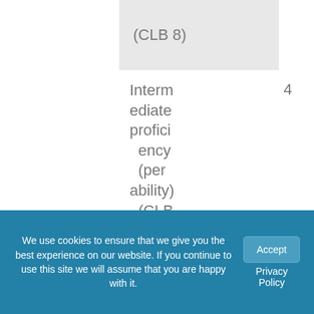| (CLB 8) |  |
| Intermediate proficiency (per ability) (CLB 7)* *Minimum | 4 |
We use cookies to ensure that we give you the best experience on our website. If you continue to use this site we will assume that you are happy with it.
Accept
Privacy Policy